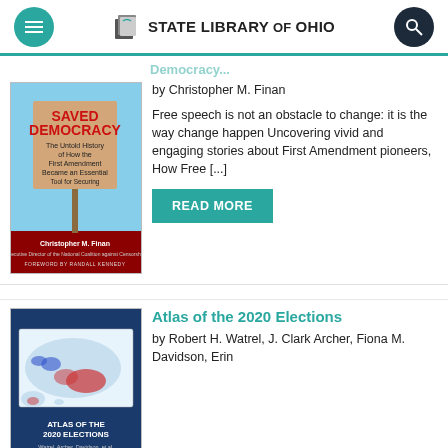STATE LIBRARY OF OHIO
[Figure (illustration): Book cover: Saved Democracy - The Untold History of How the First Amendment Became an Essential Tool for Securing Liberty and Social Justice, by Christopher M. Finan]
by Christopher M. Finan
Free speech is not an obstacle to change: it is the way change happen Uncovering vivid and engaging stories about First Amendment pioneers, How Free [...]
READ MORE
[Figure (illustration): Book cover: Atlas of the 2020 Elections showing a US map with red/blue election data]
Atlas of the 2020 Elections
by Robert H. Watrel, J. Clark Archer, Fiona M. Davidson, Erin